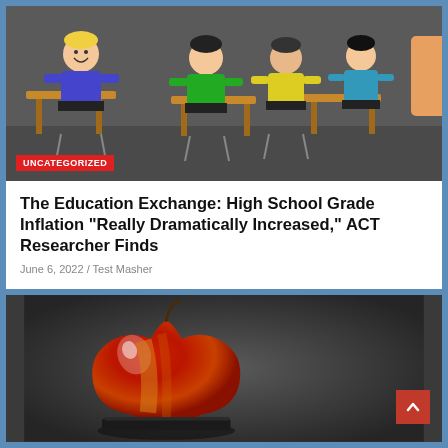[Figure (illustration): Cartoon illustration of students sitting at desks in a classroom with an UNCATEGORIZED badge overlay]
The Education Exchange: High School Grade Inflation “Really Dramatically Increased,” ACT Researcher Finds
June 6, 2022 / Test Masher
[Figure (photo): Photograph of a red apple sitting on a dark surface against a grey textured background]